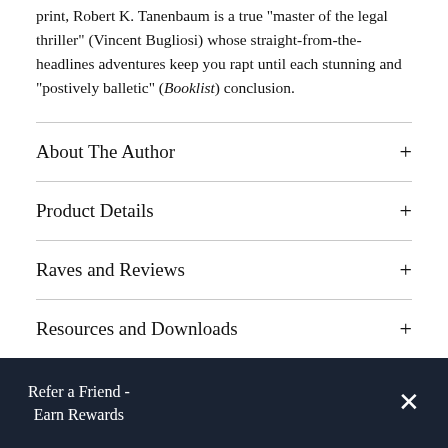print, Robert K. Tanenbaum is a true "master of the legal thriller" (Vincent Bugliosi) whose straight-from-the-headlines adventures keep you rapt until each stunning and "postively balletic" (Booklist) conclusion.
About The Author
Product Details
Raves and Reviews
Resources and Downloads
Refer a Friend - Earn Rewards